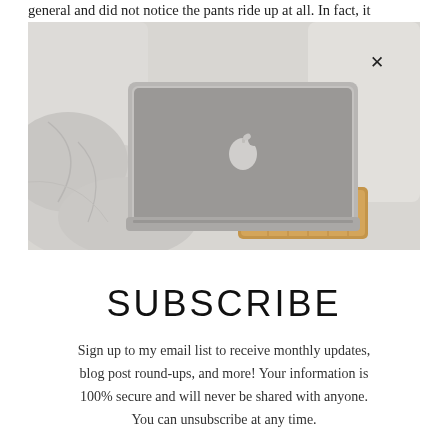general and did not notice the pants ride up at all. In fact, it
[Figure (photo): Photo of an Apple MacBook laptop on a bed with rumpled white/grey linen, next to a white cup of coffee on a wooden tray. A close (X) button is visible in the top right corner of the image.]
SUBSCRIBE
Sign up to my email list to receive monthly updates, blog post round-ups, and more! Your information is 100% secure and will never be shared with anyone. You can unsubscribe at any time.